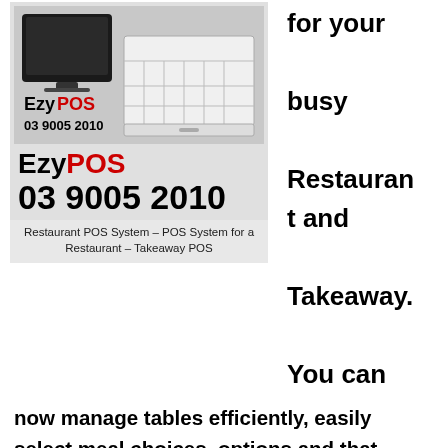[Figure (photo): Product photo of a POS terminal/touch screen and cash drawer with the EzyPOS brand and phone number 03 9005 2010]
Restaurant POS System – POS System for a Restaurant – Takeaway POS
for your busy Restaurant and Takeaway. You can
now manage tables efficiently, easily select meal choices, options and that special request from customer accurately with a EzyPOS Restaurant Point of Sale System.
No more hand written dockets. All printed out nicely through multiple kitchen docket printers and the kitchen will never read your order wrong ever! Add a Wifi POS Tablet for that personalize